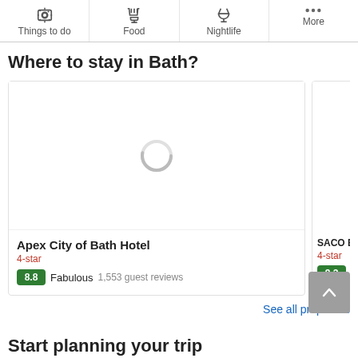Things to do | Food | Nightlife | More
Where to stay in Bath?
[Figure (screenshot): Hotel card for Apex City of Bath Hotel showing a loading spinner, 4-star rating, score 8.8 Fabulous 1,553 guest reviews; partial card for SACO Bath with 4-star rating and score 9.2 Superb]
See all properties
Start planning your trip